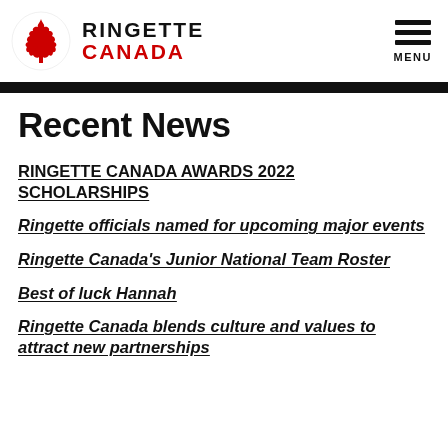[Figure (logo): Ringette Canada logo: red maple leaf with ringette ring, beside bold text RINGETTE in black and CANADA in red]
MENU
Recent News
RINGETTE CANADA AWARDS 2022 SCHOLARSHIPS
Ringette officials named for upcoming major events
Ringette Canada's Junior National Team Roster
Best of luck Hannah
Ringette Canada blends culture and values to attract new partnerships